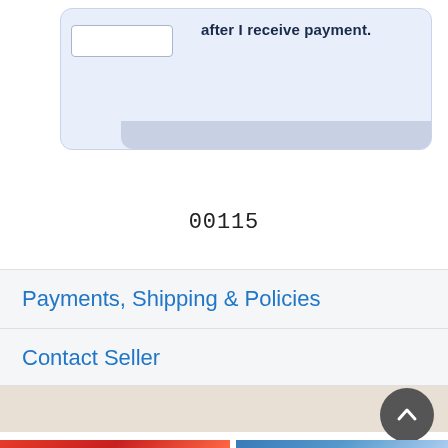[Figure (screenshot): Partial view of an eBay-like seller card with a checkbox area and bold text reading 'after I receive payment.' on a light blue background]
00115
Payments, Shipping & Policies
Contact Seller
More from BetterBuys's Store
[Figure (photo): Red colored product thumbnail image (partially visible at bottom)]
[Figure (photo): Blue colored product thumbnail image (partially visible at bottom)]